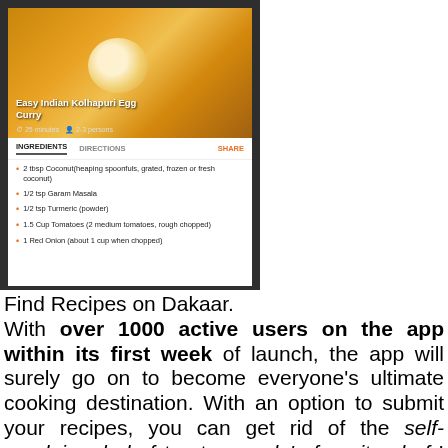[Figure (screenshot): Screenshot of a recipe app showing 'Easy Indian Kolhapuri Egg Curry' with food photo, tabs for INGREDIENTS/DIRECTIONS/SHARE, and a list of ingredients including Coconut, Garam Masala, Turmeric, Tomatoes, Red Onion.]
Find Recipes on Dakaar. With over 1000 active users on the app within its first week of launch, the app will surely go on to become everyone's ultimate cooking destination. With an option to submit your recipes, you can get rid of the self-proclaimed chef tag to people's favorite chef ! So what are you waiting for, log on to the Play Store and download the app today ! Already using the app ?